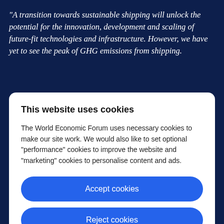"A transition towards sustainable shipping will unlock the potential for the innovation, development and scaling of future-fit technologies and infrastructure. However, we have yet to see the peak of GHG emissions from shipping.
This website uses cookies
The World Economic Forum uses necessary cookies to make our site work. We would also like to set optional "performance" cookies to improve the website and "marketing" cookies to personalise content and ads.
Accept cookies
Reject cookies
Cookie settings